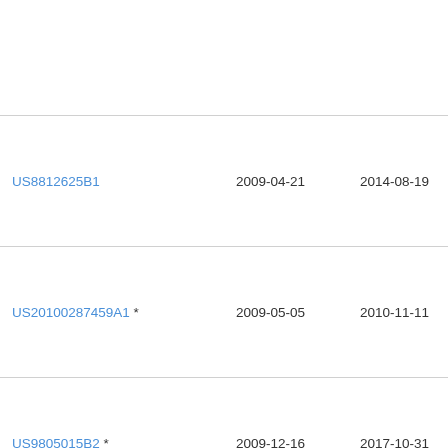| Patent Number | Filed | Published | Assignee |
| --- | --- | --- | --- |
|  |  |  |  |
| US8812625B1 | 2009-04-21 | 2014-08-19 | Go… |
| US20100287459A1 * | 2009-05-05 | 2010-11-11 | Mic… Cor… |
| US9805015B2 * | 2009-12-16 | 2017-10-31 | Ter… |
| US20130198243A1 * | 2010-03-29 | 2013-08-01 | Brie… |